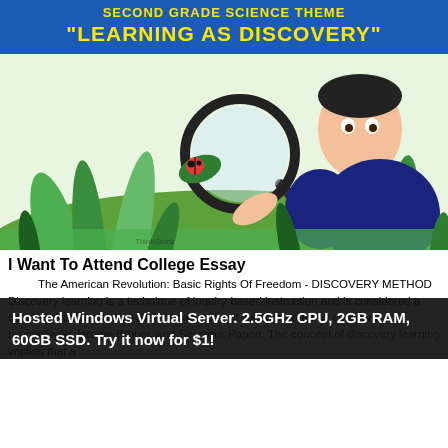"LEARNING AS DISCOVERY"
[Figure (photo): A young boy lying on grass, looking through a magnifying glass at a ladybug on a green leaf, with grass and plants in the background.]
I Want To Attend College Essay
The American Revolution: Basic Rights Of Freedom - DISCOVERY METHOD Discovery learning is a technique of inquiry-based instruction and is considered a constructivist based approach to education. It was promoted by cognitive psychologist Jerome Bruner, and Seymour Papert. The concept of discovery learning implies that a
Hosted Windows Virtual Server. 2.5GHz CPU, 2GB RAM, 60GB SSD. Try it now for $1!